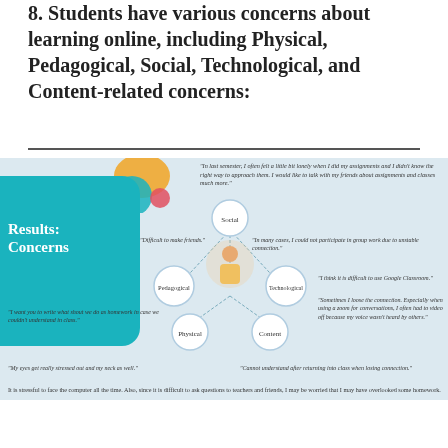8. Students have various concerns about learning online, including Physical, Pedagogical, Social, Technological, and Content-related concerns:
[Figure (infographic): Infographic titled 'Results: Concerns' showing a student figure in the center surrounded by five concern categories: Social, Technological, Content, Physical, Pedagogical. Multiple student quotes surround the diagram about loneliness, difficulty making friends, unstable connection, difficulty with Google Classroom, connection issues on Zoom, homework confusion, eye strain, and inability to understand after losing connection. A summary text states it is stressful to face the computer all the time.]